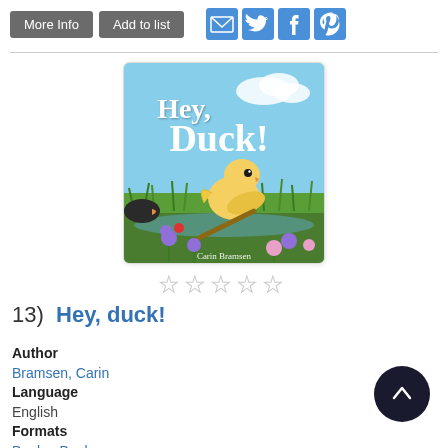More Info | Add to list
[Figure (illustration): Book cover of 'Hey, Duck!' by Carin Bramsen showing a yellow duckling holding a stick in a meadow with flowers]
★★★★★ (empty stars rating)
13)  Hey, duck!
Author
Bramsen, Carin
Language
English
Formats
Book, eBook
Description